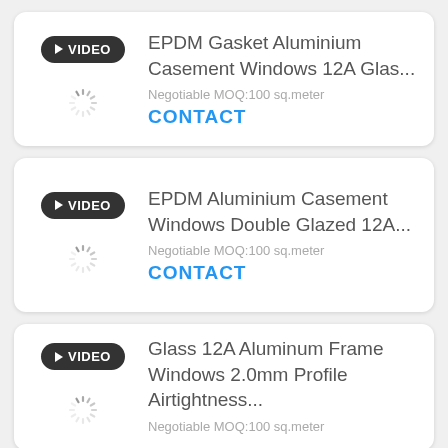[Figure (screenshot): Product listing card 1: VIDEO button, loading spinner, product title 'EPDM Gasket Aluminium Casement Windows 12A Glas...', MOQ info, CONTACT button]
[Figure (screenshot): Product listing card 2: VIDEO button, loading spinner, product title 'EPDM Aluminium Casement Windows Double Glazed 12A...', MOQ info, CONTACT button]
[Figure (screenshot): Product listing card 3 (partial): VIDEO button, loading spinner, product title 'Glass 12A Aluminum Frame Windows 2.0mm Profile Airtightness...', MOQ info (partially visible)]